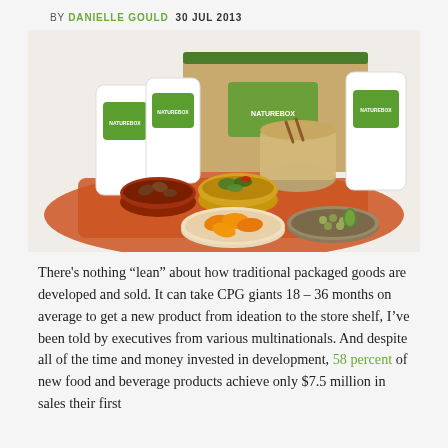BY DANIELLE GOULD  30 JUL 2013
[Figure (photo): A flatlay photo showing NatureBox branded snack packages and bowls of various snacks including nuts, dried fruit, and seeds arranged on an orange cloth, with a large cardboard NatureBox subscription box in the background.]
There's nothing “lean” about how traditional packaged goods are developed and sold. It can take CPG giants 18 – 36 months on average to get a new product from ideation to the store shelf, I’ve been told by executives from various multinationals. And despite all of the time and money invested in development, 58 percent of new food and beverage products achieve only $7.5 million in sales their first